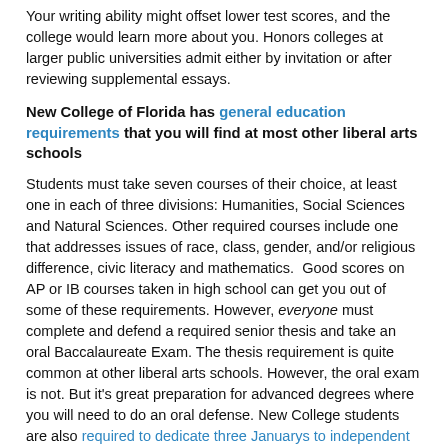Your writing ability might offset lower test scores, and the college would learn more about you. Honors colleges at larger public universities admit either by invitation or after reviewing supplemental essays.
New College of Florida has general education requirements that you will find at most other liberal arts schools
Students must take seven courses of their choice, at least one in each of three divisions: Humanities, Social Sciences and Natural Sciences. Other required courses include one that addresses issues of race, class, gender, and/or religious difference, civic literacy and mathematics. Good scores on AP or IB courses taken in high school can get you out of some of these requirements. However, everyone must complete and defend a required senior thesis and take an oral Baccalaureate Exam. The thesis requirement is quite common at other liberal arts schools. However, the oral exam is not. But it's great preparation for advanced degrees where you will need to do an oral defense. New College students are also required to dedicate three Januarys to independent study. You don't see a requirement like that at most other schools.
New College of Florida has 40 concentrations, the school's term for majors.